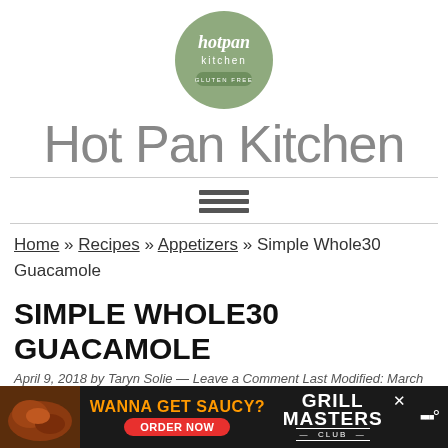[Figure (logo): Hot Pan Kitchen circular logo in sage green with cursive 'hotpan kitchen' text and 'gluten free' banner]
Hot Pan Kitchen
[Figure (other): Hamburger menu icon with three horizontal bars]
Home » Recipes » Appetizers » Simple Whole30 Guacamole
SIMPLE WHOLE30 GUACAMOLE
April 9, 2018 by Taryn Solie — Leave a Comment Last Modified: March 14,
[Figure (other): Advertisement banner: 'WANNA GET SAUCY? ORDER NOW' with Grill Masters Club logo on dark background]